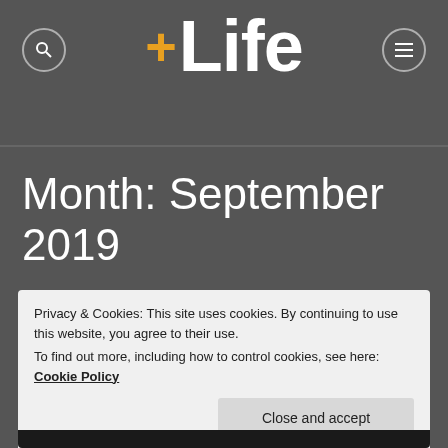+Life
Month: September 2019
Privacy & Cookies: This site uses cookies. By continuing to use this website, you agree to their use.
To find out more, including how to control cookies, see here: Cookie Policy
Close and accept